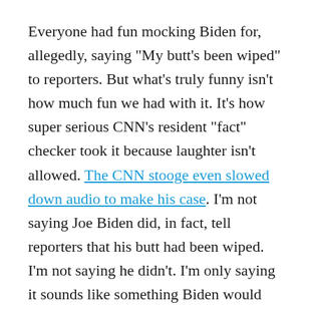Everyone had fun mocking Biden for, allegedly, saying "My butt's been wiped" to reporters. But what's truly funny isn't how much fun we had with it. It's how super serious CNN's resident "fact" checker took it because laughter isn't allowed. The CNN stooge even slowed down audio to make his case. I'm not saying Joe Biden did, in fact, tell reporters that his butt had been wiped. I'm not saying he didn't. I'm only saying it sounds like something Biden would say.
There was also the time his wife had to treat him like a five-year-old because he either didn't know a microphone was on, or he forgot that he finished his speech. Biden's the leader of the free world, and